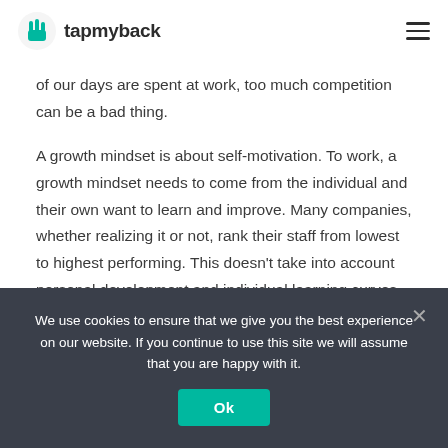tapmyback
of our days are spent at work, too much competition can be a bad thing.
A growth mindset is about self-motivation. To work, a growth mindset needs to come from the individual and their own want to learn and improve. Many companies, whether realizing it or not, rank their staff from lowest to highest performing. This doesn’t take into account personal development and individual learning curves.
If praise and rewards are only handed out to those who “do
We use cookies to ensure that we give you the best experience on our website. If you continue to use this site we will assume that you are happy with it.